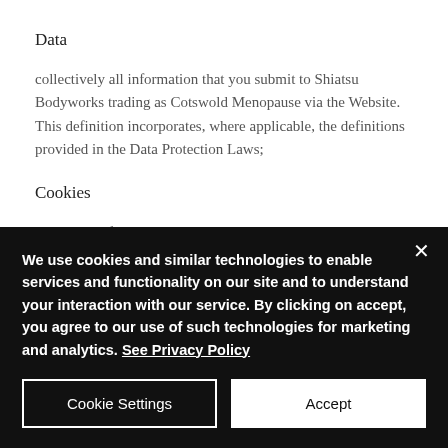Data
collectively all information that you submit to Shiatsu Bodyworks trading as Cotswold Menopause via the Website. This definition incorporates, where applicable, the definitions provided in the Data Protection Laws;
Cookies
a small text file placed on your computer by this Website when you visit certain parts of the Website and/or when you use certain features of
We use cookies and similar technologies to enable services and functionality on our site and to understand your interaction with our service. By clicking on accept, you agree to our use of such technologies for marketing and analytics. See Privacy Policy